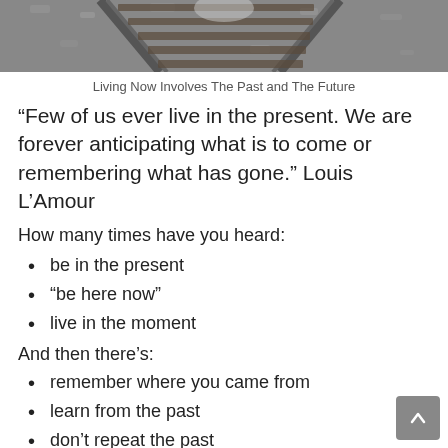[Figure (photo): Photograph of railway tracks from above, showing gravel and steel rails converging.]
Living Now Involves The Past and The Future
“Few of us ever live in the present. We are forever anticipating what is to come or remembering what has gone.” Louis L’Amour
How many times have you heard:
be in the present
“be here now”
live in the moment
And then there’s:
remember where you came from
learn from the past
don’t repeat the past